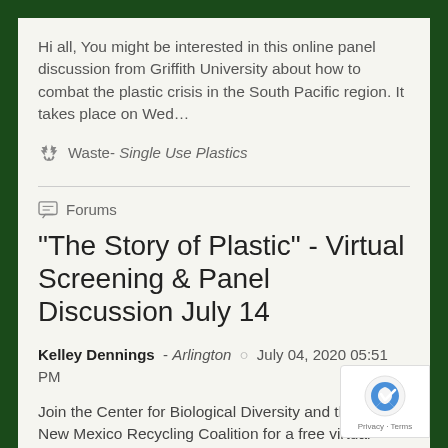Hi all, You might be interested in this online panel discussion from Griffith University about how to combat the plastic crisis in the South Pacific region. It takes place on Wed…
Waste- Single Use Plastics
Forums
"The Story of Plastic" - Virtual Screening & Panel Discussion July 14
Kelley Dennings - Arlington  ○  July 04, 2020 05:51 PM
Join the Center for Biological Diversity and the New Mexico Recycling Coalition for a free virtual